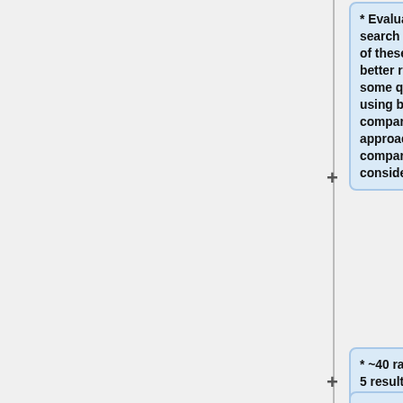* Evaluator question: Given a search based on track A, which of these two tracks (B or C) is a better result. "(Note, there is still some question as to whether using binary relative comparisons is a viable approach when the amount of comparisons required is considerd)"
* ~40 randomly selected queries, 5 results per query, 3 sets of eyes, ~10 participating labs
* Higher number of